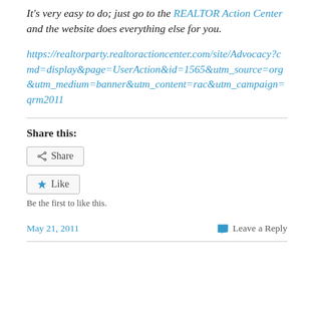It's very easy to do; just go to the REALTOR Action Center and the website does everything else for you.
https://realtorparty.realtoractioncenter.com/site/Advocacy?cmd=display&page=UserAction&id=1565&utm_source=org&utm_medium=banner&utm_content=rac&utm_campaign=qrm2011
Share this:
Share
Like
Be the first to like this.
May 21, 2011
Leave a Reply